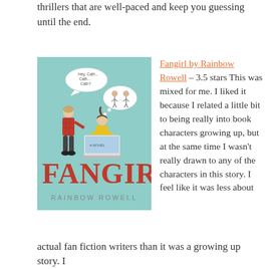thrillers that are well-paced and keep you guessing until the end.
[Figure (illustration): Book cover of 'Fangirl' by Rainbow Rowell. Teal/mint green background showing two cartoon characters — one standing (wearing red plaid) and one sitting at a laptop — with a speech bubble saying 'Hey, Cath... Cath... Cath?' and a thought bubble showing two illustrated characters. Large red stylized text reads 'FANGIRL' across the bottom half, with 'RAINBOW ROWELL' in gray text below.]
Fangirl by Rainbow Rowell – 3.5 stars This was mixed for me. I liked it because I related a little bit to being really into book characters growing up, but at the same time I wasn't really drawn to any of the characters in this story. I feel like it was less about
actual fan fiction writers than it was a growing up story. I